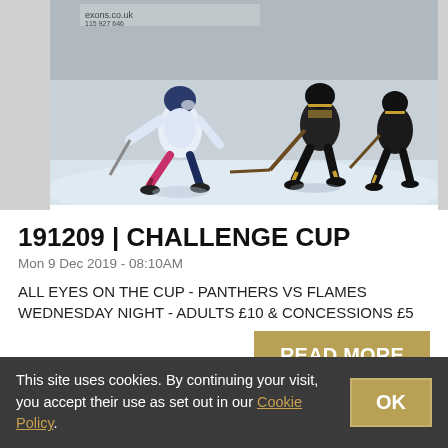[Figure (photo): Ice hockey action photo showing a player in white/navy uniform skating against players in black and gold uniforms on an ice rink. A banner ad reading 'exons.co.uk' is visible at the top.]
191209 | CHALLENGE CUP
Mon 9 Dec 2019 - 08:10AM
ALL EYES ON THE CUP - PANTHERS VS FLAMES WEDNESDAY NIGHT - ADULTS £10 & CONCESSIONS £5
READ MORE
This site uses cookies. By continuing your visit, you accept their use as set out in our Cookie Policy. OK